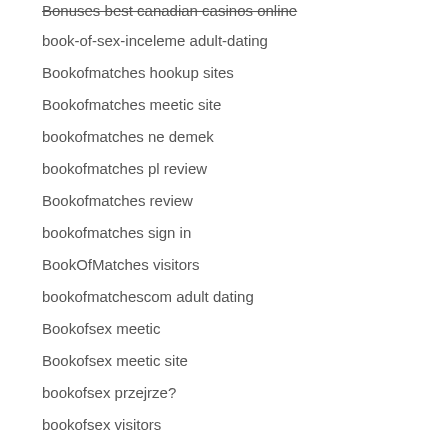Bonuses best canadian casinos online
book-of-sex-inceleme adult-dating
Bookofmatches hookup sites
Bookofmatches meetic site
bookofmatches ne demek
bookofmatches pl review
Bookofmatches review
bookofmatches sign in
BookOfMatches visitors
bookofmatchescom adult dating
Bookofsex meetic
Bookofsex meetic site
bookofsex przejrze?
bookofsex visitors
bookofsex-inceleme review